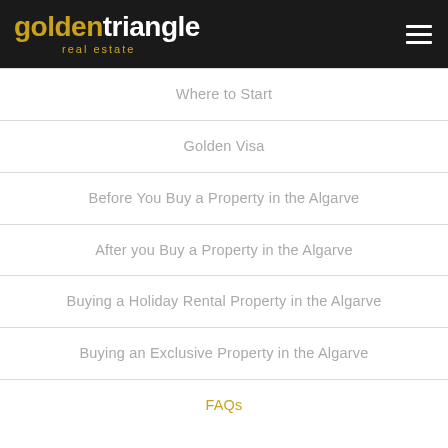goldentriangle real estate
Where to Start
Golden Visa
Before You Buy a Property in the Algarve
After you Buy a Property in the Algarve
Buying a Holiday Rental Property in the Algarve
Buying an Exclusive Property in the Algarve
FAQs